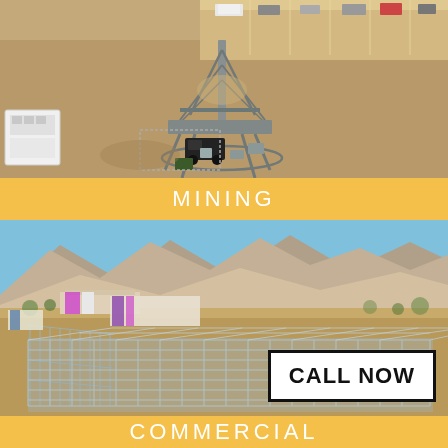[Figure (photo): Aerial drone view of a mining or industrial site with a large metal tower/structure in the center, vehicles and trailers visible in a sandy parking/work area, overhead perspective]
MINING
[Figure (photo): Aerial view of a large commercial construction site with metal framing/rebar grid structure being built, desert landscape with mountains in background, a town visible behind the structure]
CALL NOW
COMMERCIAL